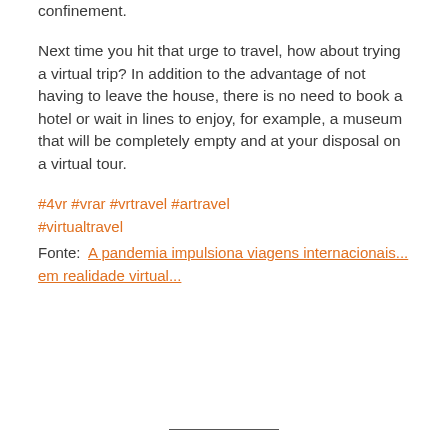confinement.
Next time you hit that urge to travel, how about trying a virtual trip? In addition to the advantage of not having to leave the house, there is no need to book a hotel or wait in lines to enjoy, for example, a museum that will be completely empty and at your disposal on a virtual tour.
#4vr #vrar #vrtravel #artravel #virtualtravel
Fonte:  A pandemia impulsiona viagens internacionais... em realidade virtual...